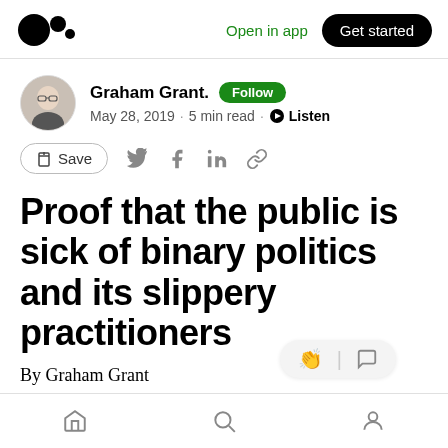Medium app header with logo, Open in app, Get started
Graham Grant. · Follow · May 28, 2019 · 5 min read · Listen
Save (share actions: Twitter, Facebook, LinkedIn, Link)
Proof that the public is sick of binary politics and its slippery practitioners
By Graham Grant
Bottom navigation: Home, Search, Profile